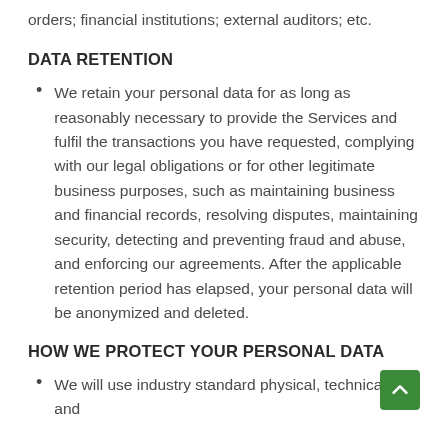orders; financial institutions; external auditors; etc.
DATA RETENTION
We retain your personal data for as long as reasonably necessary to provide the Services and fulfil the transactions you have requested, complying with our legal obligations or for other legitimate business purposes, such as maintaining business and financial records, resolving disputes, maintaining security, detecting and preventing fraud and abuse, and enforcing our agreements. After the applicable retention period has elapsed, your personal data will be anonymized and deleted.
HOW WE PROTECT YOUR PERSONAL DATA
We will use industry standard physical, technical, and